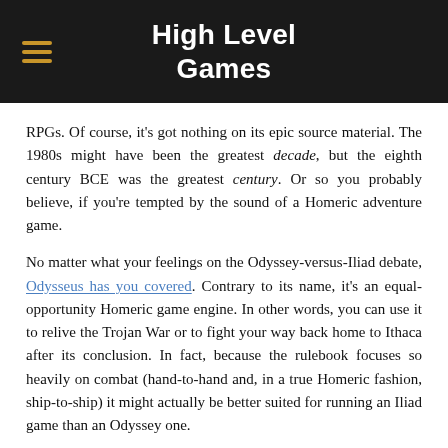High Level Games
RPGs. Of course, it's got nothing on its epic source material. The 1980s might have been the greatest decade, but the eighth century BCE was the greatest century. Or so you probably believe, if you're tempted by the sound of a Homeric adventure game.
No matter what your feelings on the Odyssey-versus-Iliad debate, Odysseus has you covered. Contrary to its name, it's an equal-opportunity Homeric game engine. In other words, you can use it to relive the Trojan War or to fight your way back home to Ithaca after its conclusion. In fact, because the rulebook focuses so heavily on combat (hand-to-hand and, in a true Homeric fashion, ship-to-ship) it might actually be better suited for running an Iliad game than an Odyssey one.